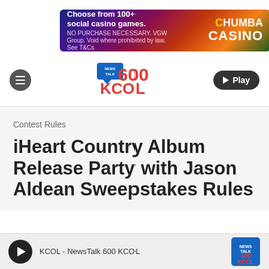[Figure (screenshot): Chumba Casino advertisement banner: 'Choose from 100+ social casino games.' with colorful casino game imagery and Chumba Casino logo]
[Figure (logo): NewsTalk 600 KCOL radio station logo in red and blue]
Contest Rules
iHeart Country Album Release Party with Jason Aldean Sweepstakes Rules
KCOL - NewsTalk 600 KCOL